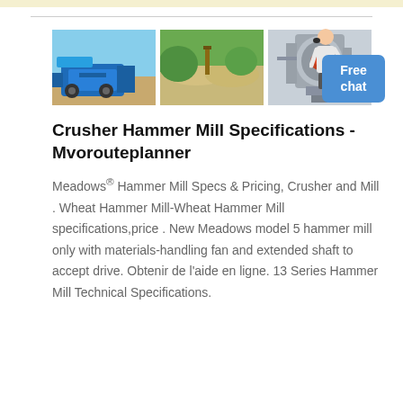[Figure (photo): Three industrial machinery/quarry photos side by side: (1) blue mobile crusher machine at a quarry site, (2) quarry site with aggregate piles and green hills in background, (3) large vertical industrial mill machine]
Crusher Hammer Mill Specifications - Mvorouteplanner
Meadows® Hammer Mill Specs & Pricing, Crusher and Mill . Wheat Hammer Mill-Wheat Hammer Mill specifications,price . New Meadows model 5 hammer mill only with materials-handling fan and extended shaft to accept drive. Obtenir de l'aide en ligne. 13 Series Hammer Mill Technical Specifications.